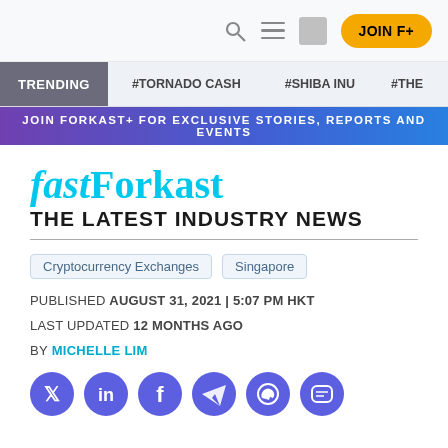JOIN F+
TRENDING #TORNADO CASH #SHIBA INU #THE
JOIN FORKAST+ FOR EXCLUSIVE STORIES, REPORTS AND EVENTS
fastForkast
THE LATEST INDUSTRY NEWS
Cryptocurrency Exchanges
Singapore
PUBLISHED AUGUST 31, 2021 | 5:07 PM HKT
LAST UPDATED 12 MONTHS AGO
BY MICHELLE LIM